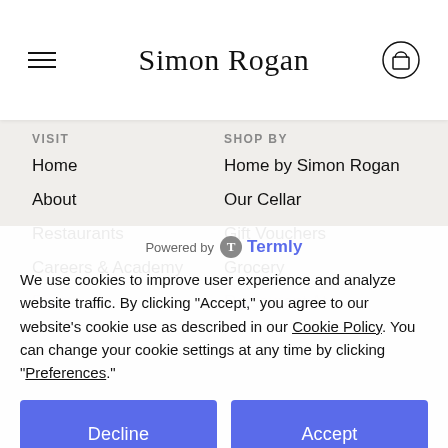Simon Rogan
VISIT
Home
About
Restaurants
Careers & Academy
SHOP BY
Home by Simon Rogan
Our Cellar
Gift Vouchers
Grocery
Powered by Termly
We use cookies to improve user experience and analyze website traffic. By clicking "Accept," you agree to our website's cookie use as described in our Cookie Policy. You can change your cookie settings at any time by clicking "Preferences."
Decline
Accept
Preferences